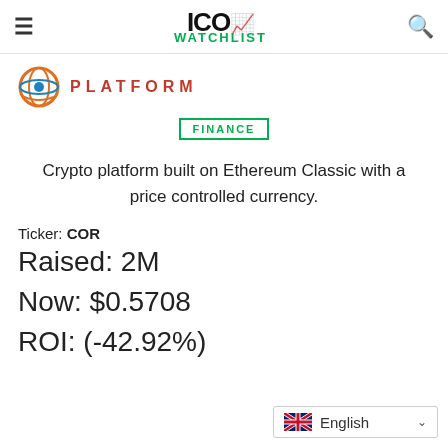ICO WATCHLIST
[Figure (logo): Circular logo with globe/eye icon and text PLATFORM in red, spaced uppercase letters]
FINANCE
Crypto platform built on Ethereum Classic with a price controlled currency.
Ticker: COR
Raised: 2M
Now: $0.5708
ROI: (-42.92%)
English